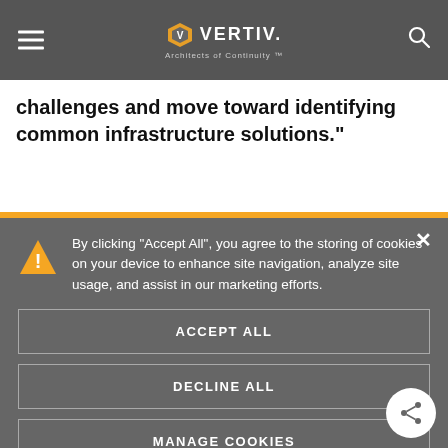VERTIV — Architects of Continuity
challenges and move toward identifying common infrastructure solutions."
By clicking “Accept All”, you agree to the storing of cookies on your device to enhance site navigation, analyze site usage, and assist in our marketing efforts.
ACCEPT ALL
DECLINE ALL
MANAGE COOKIES
For more information on which cookies we use, click here.